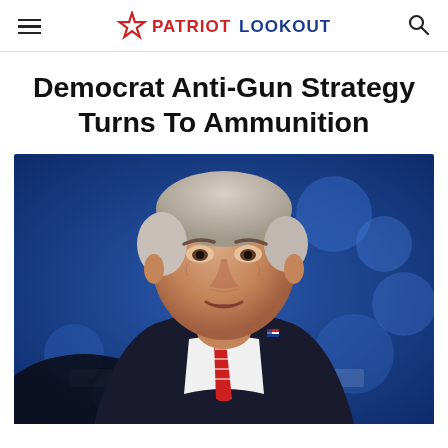PATRIOT LOOKOUT
Democrat Anti-Gun Strategy Turns To Ammunition
[Figure (photo): Close-up photograph of an older white-haired man in a dark suit with a red-and-white striped tie and an American flag pin, speaking against a blurred blue background.]